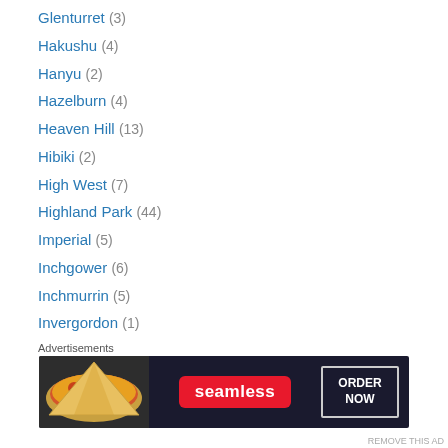Glenturret (3)
Hakushu (4)
Hanyu (2)
Hazelburn (4)
Heaven Hill (13)
Hibiki (2)
High West (7)
Highland Park (44)
Imperial (5)
Inchgower (6)
Inchmurrin (5)
Invergordon (1)
Jack Daniel's (1)
Jameson (4)
Jefferson's (2)
Jim Beam (6)
Johnnie Walker (1)
[Figure (infographic): Seamless food delivery advertisement banner with pizza image, Seamless red logo badge, and ORDER NOW button]